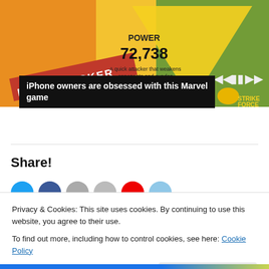[Figure (screenshot): Marvel Strike Force game screenshot showing Spider-Man / Peter Parker character card with POWER 72,738, description 'A quick attacker that weakens opponents and evades incoming attacks', media player controls, and Strike Force logo.]
iPhone owners are obsessed with this Marvel game
Share!
[Figure (infographic): Row of social sharing icon circles: Twitter (blue), Facebook (blue), grey, grey, Pinterest (red), light blue.]
Privacy & Cookies: This site uses cookies. By continuing to use this website, you agree to their use.
To find out more, including how to control cookies, see here: Cookie Policy
Close and accept